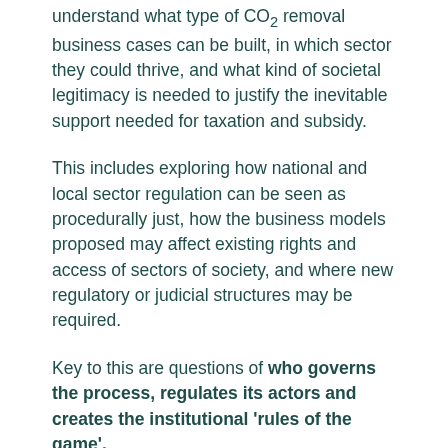understand what type of CO₂ removal business cases can be built, in which sector they could thrive, and what kind of societal legitimacy is needed to justify the inevitable support needed for taxation and subsidy.
This includes exploring how national and local sector regulation can be seen as procedurally just, how the business models proposed may affect existing rights and access of sectors of society, and where new regulatory or judicial structures may be required.
Key to this are questions of who governs the process, regulates its actors and creates the institutional 'rules of the game'.
What are the changes required to existing